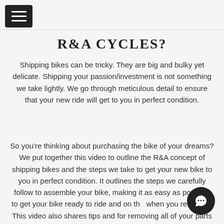R&A CYCLES?
Shipping bikes can be tricky. They are big and bulky yet delicate. Shipping your passion/investment is not something we take lightly. We go through meticulous detail to ensure that your new ride will get to you in perfect condition.
So you're thinking about purchasing the bike of your dreams? We put together this video to outline the R&A concept of shipping bikes and the steps we take to get your new bike to you in perfect condition. It outlines the steps we carefully follow to assemble your bike, making it as easy as possible to get your bike ready to ride and on the when you receive it. This video also shares tips and for removing all of your parts in the most careful way to